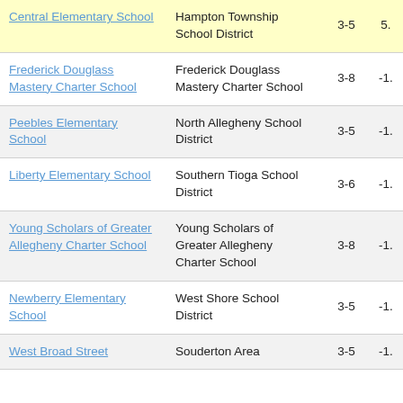| School | District | Grades | Value |
| --- | --- | --- | --- |
| Central Elementary School | Hampton Township School District | 3-5 | 5. |
| Frederick Douglass Mastery Charter School | Frederick Douglass Mastery Charter School | 3-8 | -1. |
| Peebles Elementary School | North Allegheny School District | 3-5 | -1. |
| Liberty Elementary School | Southern Tioga School District | 3-6 | -1. |
| Young Scholars of Greater Allegheny Charter School | Young Scholars of Greater Allegheny Charter School | 3-8 | -1. |
| Newberry Elementary School | West Shore School District | 3-5 | -1. |
| West Broad Street … | Souderton Area … | 3-5 | -1. |